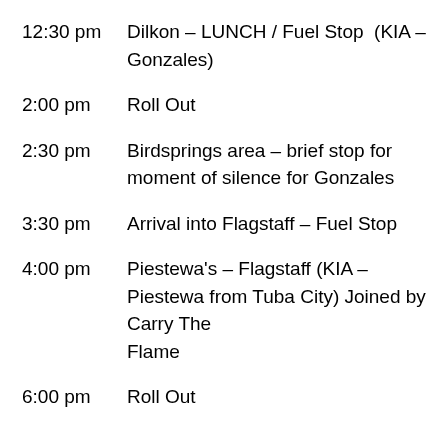12:30 pm    Dilkon – LUNCH / Fuel Stop  (KIA – Gonzales)
2:00 pm        Roll Out
2:30 pm        Birdsprings area – brief stop for moment of silence for Gonzales
3:30 pm        Arrival into Flagstaff – Fuel Stop
4:00 pm        Piestewa's – Flagstaff (KIA – Piestewa from Tuba City) Joined by Carry The Flame
6:00 pm        Roll Out